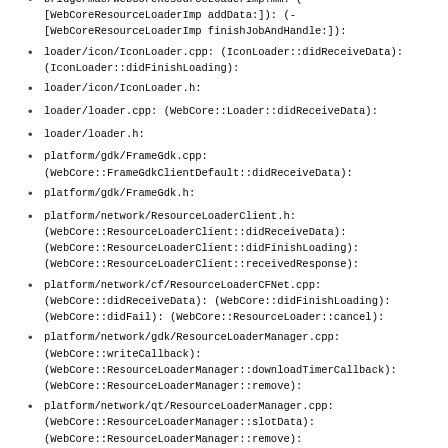didFinishLoading
bridge/mac/WebCoreResourceLoaderImp.mm: (-[WebCoreResourceLoaderImp addData:]): (-[WebCoreResourceLoaderImp finishJobAndHandle:]):
loader/icon/IconLoader.cpp: (IconLoader::didReceiveData): (IconLoader::didFinishLoading):
loader/icon/IconLoader.h:
loader/loader.cpp: (WebCore::Loader::didReceiveData):
loader/loader.h:
platform/gdk/FrameGdk.cpp: (WebCore::FrameGdkClientDefault::didReceiveData):
platform/gdk/FrameGdk.h:
platform/network/ResourceLoaderClient.h: (WebCore::ResourceLoaderClient::didReceiveData): (WebCore::ResourceLoaderClient::didFinishLoading): (WebCore::ResourceLoaderClient::receivedResponse):
platform/network/cf/ResourceLoaderCFNet.cpp: (WebCore::didReceiveData): (WebCore::didFinishLoading): (WebCore::didFail): (WebCore::ResourceLoader::cancel):
platform/network/gdk/ResourceLoaderManager.cpp: (WebCore::writeCallback): (WebCore::ResourceLoaderManager::downloadTimerCallback): (WebCore::ResourceLoaderManager::remove):
platform/network/qt/ResourceLoaderManager.cpp: (WebCore::ResourceLoaderManager::slotData): (WebCore::ResourceLoaderManager::remove):